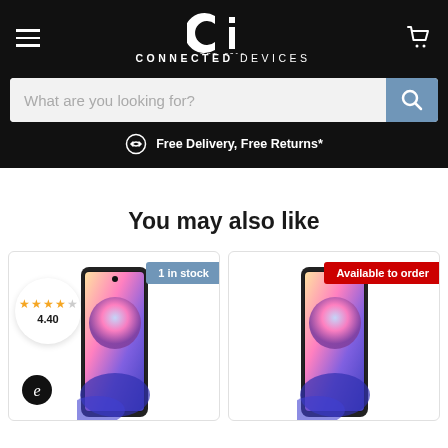Connected Devices - Est. 2016
What are you looking for?
Free Delivery, Free Returns*
You may also like
1 in stock
4.40
Available to order